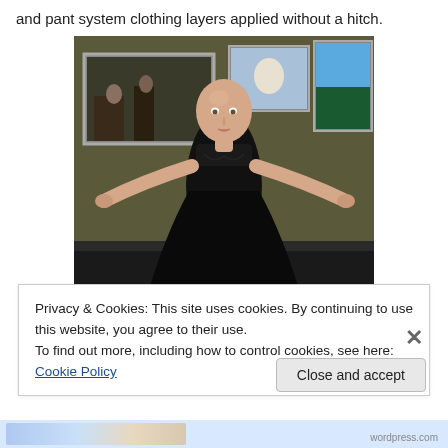and pant system clothing layers applied without a hitch.
[Figure (screenshot): 3D virtual world avatar — a bald female figure wearing a black strapless dress with arms outstretched, standing in a room with framed pictures on the wall]
Privacy & Cookies: This site uses cookies. By continuing to use this website, you agree to their use.
To find out more, including how to control cookies, see here: Cookie Policy
Close and accept